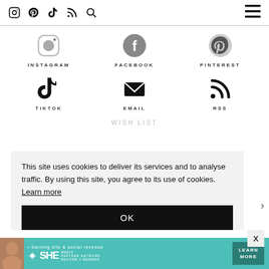Navigation bar with icons: Instagram, Pinterest, TikTok, RSS, Search, and hamburger menu
[Figure (infographic): Social media links grid: Instagram, Facebook, Pinterest, TikTok, Email, RSS icons with labels]
WISH LIST
This site uses cookies to deliver its services and to analyse traffic. By using this site, you agree to its use of cookies. Learn more
OK
[Figure (infographic): SHE Media Partner Network advertisement banner: Earning site & social revenue. LEARN MORE. BECOME A MEMBER.]